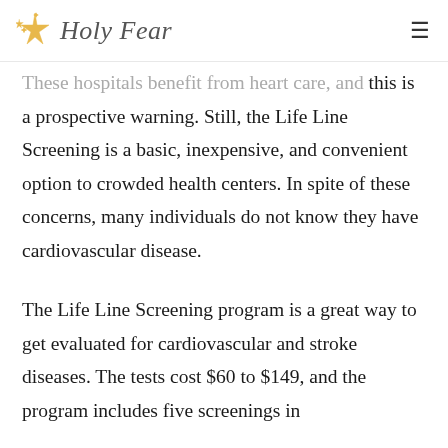Holy Fear
These hospitals benefit from heart care, and this is a prospective warning. Still, the Life Line Screening is a basic, inexpensive, and convenient option to crowded health centers. In spite of these concerns, many individuals do not know they have cardiovascular disease.
The Life Line Screening program is a great way to get evaluated for cardiovascular and stroke diseases. The tests cost $60 to $149, and the program includes five screenings in